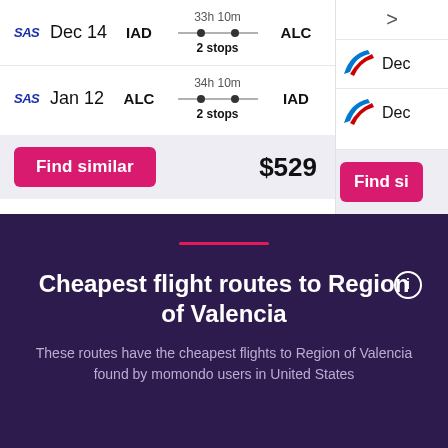| Airline | Date | From | Route | To | Stops |
| --- | --- | --- | --- | --- | --- |
| SAS | Dec 14 | IAD | 33h 10m / 2 stops | ALC | 2 stops |
| SAS | Jan 12 | ALC | 34h 10m / 2 stops | IAD | 2 stops |
Find similar   $529
Cheapest flight routes to Region of Valencia
These routes have the cheapest flights to Region of Valencia found by momondo users in United States